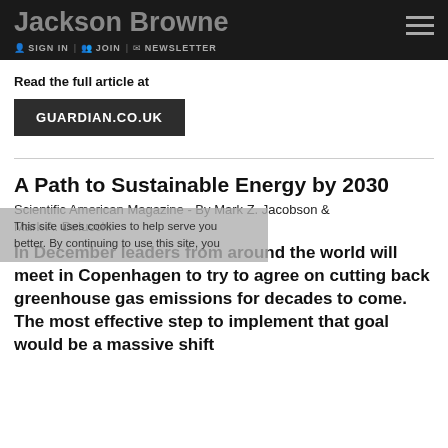Jackson Browne | SIGN IN | JOIN | NEWSLETTER
Read the full article at
GUARDIAN.CO.UK
A Path to Sustainable Energy by 2030
Scientific American Magazine - By Mark Z. Jacobson & Mark A. Delucchi
This site uses cookies to help serve you better. By continuing to use this site, you
In December leaders from around the world will meet in Copenhagen to try to agree on cutting back greenhouse gas emissions for decades to come. The most effective step to implement that goal would be a massive shift